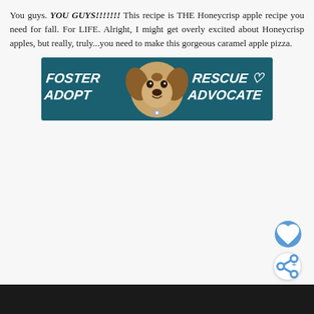You guys. YOU GUYS!!!!!!! This recipe is THE Honeycrisp apple recipe you need for fall. For LIFE. Alright, I might get overly excited about Honeycrisp apples, but really, truly...you need to make this gorgeous caramel apple pizza.
[Figure (infographic): Advertisement banner with teal/dark green background showing a beagle dog in the center, with bold italic white text reading FOSTER ADOPT on the left and RESCUE ADVOCATE on the right, with a heart outline icon.]